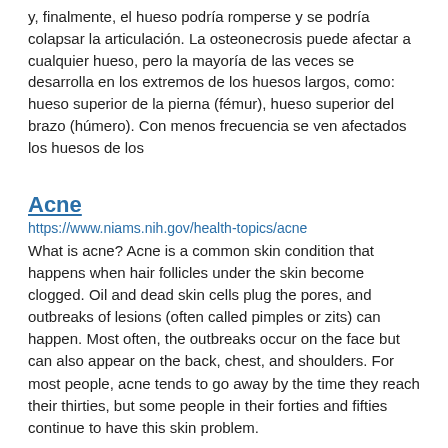y, finalmente, el hueso podría romperse y se podría colapsar la articulación. La osteonecrosis puede afectar a cualquier hueso, pero la mayoría de las veces se desarrolla en los extremos de los huesos largos, como: hueso superior de la pierna (fémur), hueso superior del brazo (húmero). Con menos frecuencia se ven afectados los huesos de los
Acne
https://www.niams.nih.gov/health-topics/acne
What is acne? Acne is a common skin condition that happens when hair follicles under the skin become clogged. Oil and dead skin cells plug the pores, and outbreaks of lesions (often called pimples or zits) can happen. Most often, the outbreaks occur on the face but can also appear on the back, chest, and shoulders. For most people, acne tends to go away by the time they reach their thirties, but some people in their forties and fifties continue to have this skin problem.
Osteonecrosis
https://www.niams.nih.gov/health-topics/osteonecrosis
What is osteonecrosis? Your bones are made up of living cells that need a blood supply to stay healthy. In osteonecrosis, blood flow to part of a bone is reduced. This causes death of bone tissue, and the bone can eventually break down and the joint will collapse.